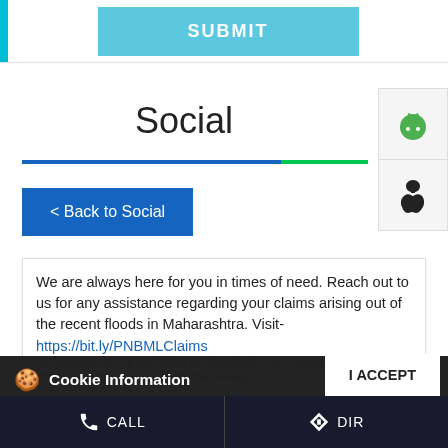[Figure (screenshot): SUBMIT button with teal background at top of page]
Social
[Figure (screenshot): Android and Apple app store icons on right side]
[Figure (screenshot): < Back to Social navigation button]
We are always here for you in times of need. Reach out to us for any assistance regarding your claims arising out of the recent floods in Maharashtra. Visit- https://bit.ly/PNBMLClaims #PNBMetLife #Insurance #LifeInsurance #Floods #Claim #Maharashtra #FloodAffectedAreas #PNBmetLife #Insurance
Cookie Information
We use cookies to provide you with a great user experience. By using the website, you accept our use of cookies
[Figure (screenshot): I ACCEPT button for cookie consent]
CALL   DIRECTIONS